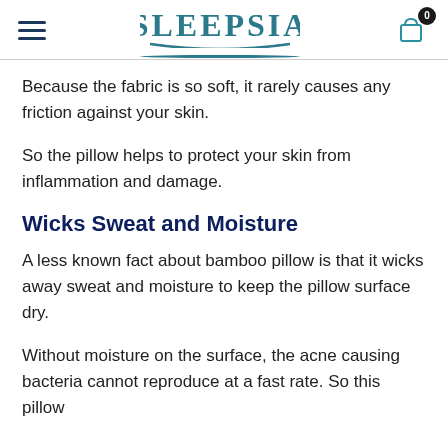SLEEPSIA
Because the fabric is so soft, it rarely causes any friction against your skin.
So the pillow helps to protect your skin from inflammation and damage.
Wicks Sweat and Moisture
A less known fact about bamboo pillow is that it wicks away sweat and moisture to keep the pillow surface dry.
Without moisture on the surface, the acne causing bacteria cannot reproduce at a fast rate. So this pillow